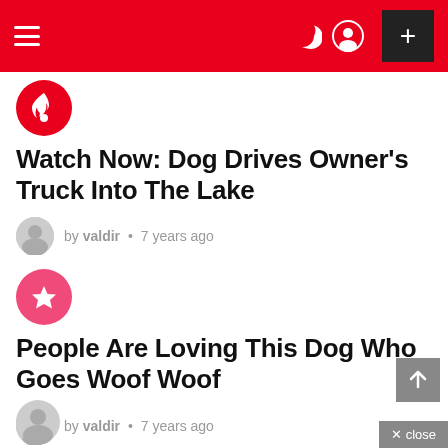[Figure (screenshot): Navigation bar with hamburger menu, crescent/moon icon, user icon, and plus button on red background]
[Figure (logo): Red circular badge with white flame icon]
Watch Now: Dog Drives Owner’s Truck Into The Lake
by valdir • 7 years ago
[Figure (logo): Pink/red circular badge with white star icon]
People Are Loving This Dog Who Goes Woof Woof
by valdir • 7 years ago
13 Facts For Cat Lovers Or Why The Internet Loves Cats